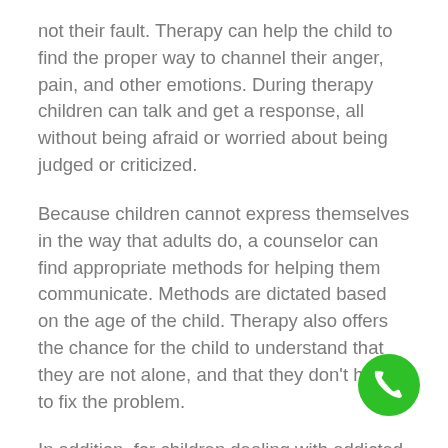not their fault. Therapy can help the child to find the proper way to channel their anger, pain, and other emotions. During therapy children can talk and get a response, all without being afraid or worried about being judged or criticized.
Because children cannot express themselves in the way that adults do, a counselor can find appropriate methods for helping them communicate. Methods are dictated based on the age of the child. Therapy also offers the chance for the child to understand that they are not alone, and that they don't have to fix the problem.
In addition, for children dealing with addicted parents, therapy can help the child experience the love and affection that is often lacking in their homes. Therapeutic programs can help build a child's self-esteem as we assist them in solving problems that they face as a of their parent's addiction.